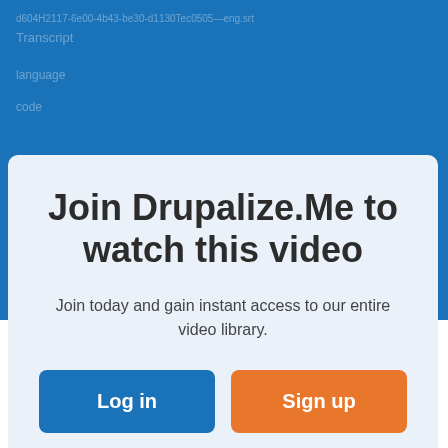[Figure (screenshot): Blue background header area with faded text showing a UUID path, Transcript, language, and code labels]
Join Drupalize.Me to watch this video
Join today and gain instant access to our entire video library.
Log in
Sign up